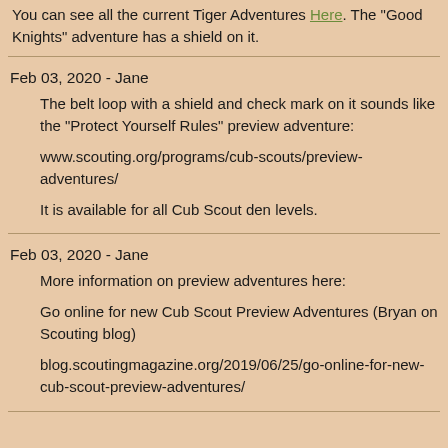You can see all the current Tiger Adventures Here. The "Good Knights" adventure has a shield on it.
Feb 03, 2020 - Jane
The belt loop with a shield and check mark on it sounds like the "Protect Yourself Rules" preview adventure:

www.scouting.org/programs/cub-scouts/preview-adventures/

It is available for all Cub Scout den levels.
Feb 03, 2020 - Jane
More information on preview adventures here:

Go online for new Cub Scout Preview Adventures (Bryan on Scouting blog)

blog.scoutingmagazine.org/2019/06/25/go-online-for-new-cub-scout-preview-adventures/